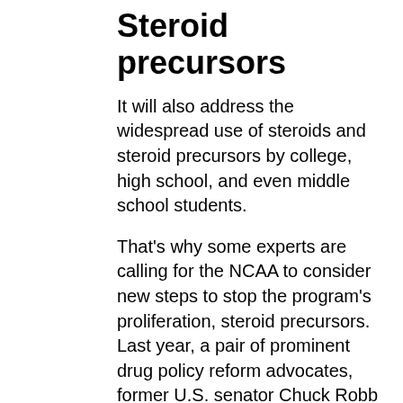Steroid precursors
It will also address the widespread use of steroids and steroid precursors by college, high school, and even middle school students.
That's why some experts are calling for the NCAA to consider new steps to stop the program's proliferation, steroid precursors. Last year, a pair of prominent drug policy reform advocates, former U.S. senator Chuck Robb (D-Wis.) and former federal prosecutor Ron Dellums, wrote to the NCAA, NCAA Senate and the College Sports Solutions Alliance about the issue.
"We believe that the NCAA's current response and inaction is in part responsible for the massive growth and exploitation of this drug epidemic, while still maintaining the status-quo status of